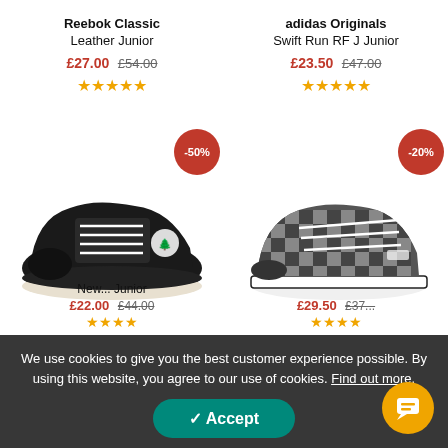Reebok Classic Leather Junior
£27.00  £54.00  ★★★★★
adidas Originals Swift Run RF J Junior
£23.50  £47.00  ★★★★★
[Figure (photo): Black Timberland canvas low-top sneaker with white sole and laces, -50% badge]
[Figure (photo): Black and grey checkered Vans low-top sneaker with white sole, -20% badge]
New... Junior  £22.00  £44.00  ★★★★
£29.50  £37...  ★★★★
We use cookies to give you the best customer experience possible. By using this website, you agree to our use of cookies. Find out more.
Accept